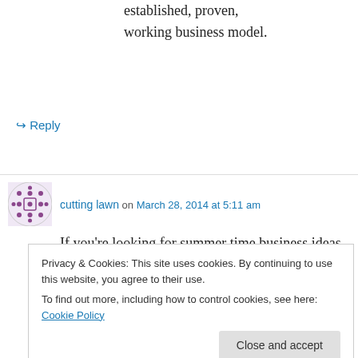established, proven,
working business model.
↪ Reply
cutting lawn on March 28, 2014 at 5:11 am
If you're looking for summer time business ideas for kids, then hopefully, you can get something from
the 5 ideas outlined below. Light-weight and compact, this Toro 20360 e-Cycler 36-Volt
Privacy & Cookies: This site uses cookies. By continuing to use this website, you agree to their use.
To find out more, including how to control cookies, see here: Cookie Policy
computers, you can purchase an advanced lawn